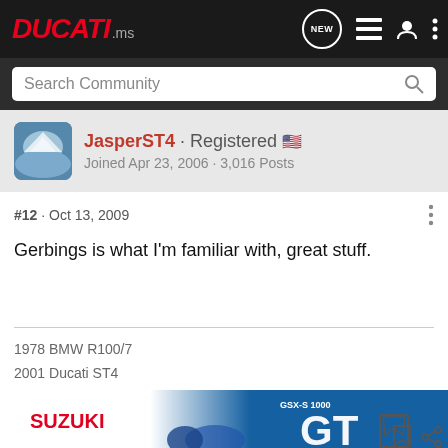DUCATI.ms
Search Community
JasperST4 · Registered
Joined Apr 23, 2006 · 3,016 Posts
#12 · Oct 13, 2009
Gerbings is what I'm familiar with, great stuff.
1978 BMW R100/7
2001 Ducati ST4
[Figure (advertisement): Suzuki GSX-S1000GT advertisement banner with motorcycle image and 'SEE IT NOW' call to action]